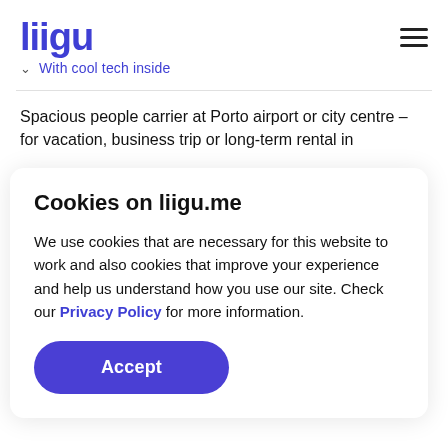liigu — With cool tech inside
Spacious people carrier at Porto airport or city centre – for vacation, business trip or long-term rental in
Cookies on liigu.me
We use cookies that are necessary for this website to work and also cookies that improve your experience and help us understand how you use our site. Check our Privacy Policy for more information.
Accept